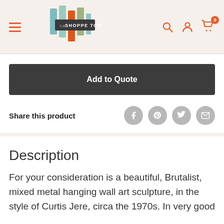[Figure (logo): La Shoppe Too logo with colorful vertical bar icons and dark label box]
Add to Quote
Share this product
Description
For your consideration is a beautiful, Brutalist, mixed metal hanging wall art sculpture, in the style of Curtis Jere, circa the 1970s. In very good